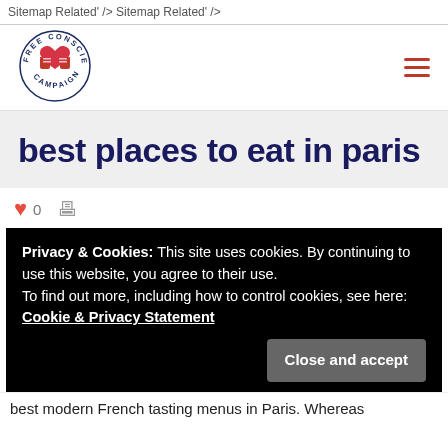Sitemap Related' /> Sitemap Related' />
[Figure (logo): Free Conscience Campaign circular logo with red heart fists icon]
best places to eat in paris
♥ 0  🖨
Privacy & Cookies: This site uses cookies. By continuing to use this website, you agree to their use.
To find out more, including how to control cookies, see here: Cookie & Privacy Statement
Close and accept
best modern French tasting menus in Paris. Whereas